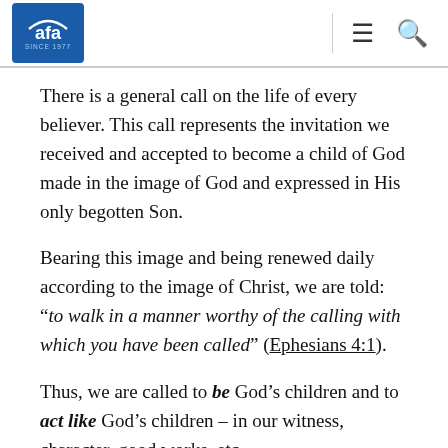AFA since 1977
There is a general call on the life of every believer. This call represents the invitation we received and accepted to become a child of God made in the image of God and expressed in His only begotten Son.
Bearing this image and being renewed daily according to the image of Christ, we are told: “to walk in a manner worthy of the calling with which you have been called” (Ephesians 4:1).
Thus, we are called to be God’s children and to act like God’s children – in our witness, character, good works, etc.
But there is also a specific calling on the life of every believer...